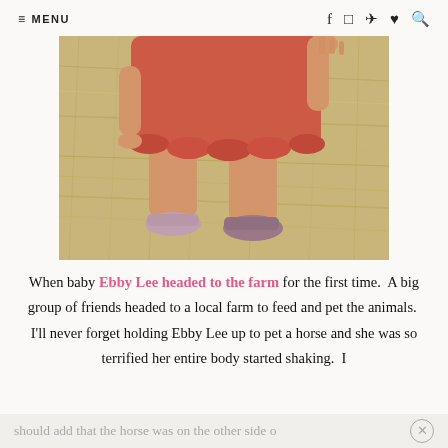≡ MENU  [social icons: Facebook, Instagram, Send, Heart, Search]
[Figure (photo): Photo of a young toddler girl in a ruffled red/coral dress and pink sandals standing on dry hay/straw, shown from approximately waist down.]
When baby Ebby Lee headed to the farm for the first time.  A big group of friends headed to a local farm to feed and pet the animals.  I'll never forget holding Ebby Lee up to pet a horse and she was so terrified her entire body started shaking.  I should add that the horse was on the other side of